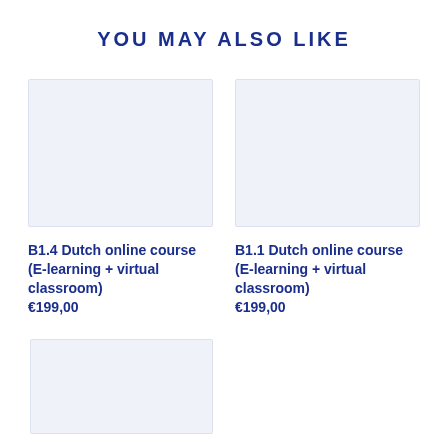YOU MAY ALSO LIKE
[Figure (photo): Blank light blue placeholder image for B1.4 Dutch online course]
B1.4 Dutch online course (E-learning + virtual classroom)
€199,00
[Figure (photo): Blank light blue placeholder image for B1.1 Dutch online course]
B1.1 Dutch online course (E-learning + virtual classroom)
€199,00
[Figure (photo): Blank light blue placeholder image for third course (partially visible)]